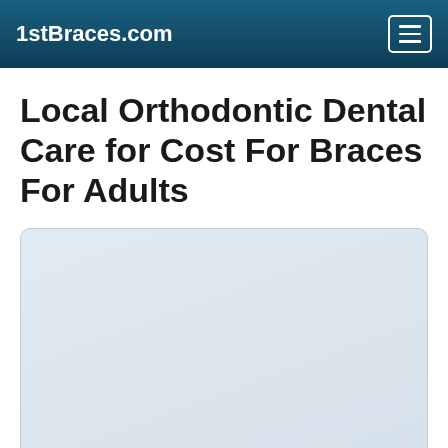1stBraces.com
Local Orthodontic Dental Care for Cost For Braces For Adults
[Figure (map): Map placeholder showing local orthodontic dental care providers, light blue-gray background with rounded corners]